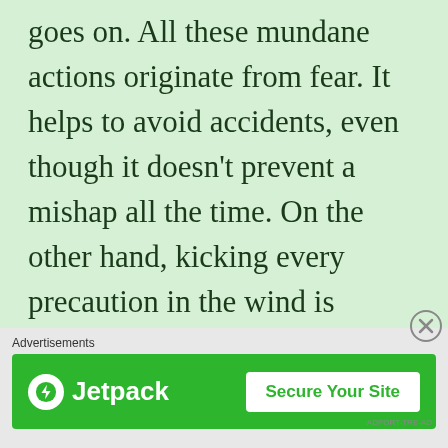goes on. All these mundane actions originate from fear. It helps to avoid accidents, even though it doesn't prevent a mishap all the time. On the other hand, kicking every precaution in the wind is recklessness. There is a certain amount of ownership in your judgement call. Such thought originates from a disciplined
Advertisements
[Figure (other): Jetpack advertisement banner with green background, Jetpack logo on left and 'Secure Your Site' button on right]